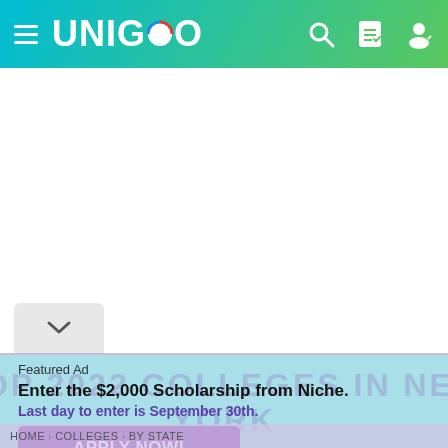UNIGO
[Figure (screenshot): White content area placeholder below header]
Featured Ad
Enter the $2,000 Scholarship from Niche.
Last day to enter is September 30th.
APPLY NOW!
HOME > COLLEGES > BY STATE